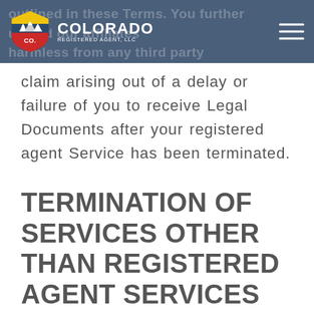outlined in these Terms. You further us and our affiliates harmless from any third party
claim arising out of a delay or failure of you to receive Legal Documents after your registered agent Service has been terminated.
TERMINATION OF SERVICES OTHER THAN REGISTERED AGENT SERVICES